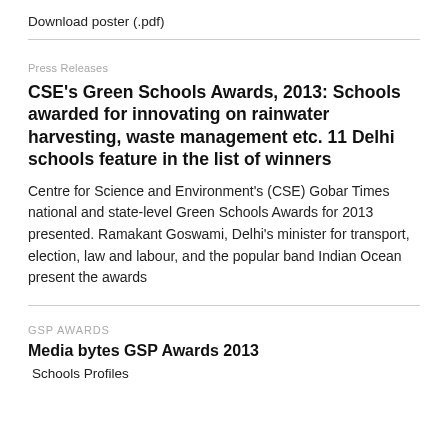Download poster (.pdf)
Press Releases
CSE's Green Schools Awards, 2013: Schools awarded for innovating on rainwater harvesting, waste management etc. 11 Delhi schools feature in the list of winners
Centre for Science and Environment's (CSE) Gobar Times national and state-level Green Schools Awards for 2013 presented. Ramakant Goswami, Delhi's minister for transport, election, law and labour, and the popular band Indian Ocean present the awards
GSP AWARDS
Media bytes GSP Awards 2013
Schools Profiles